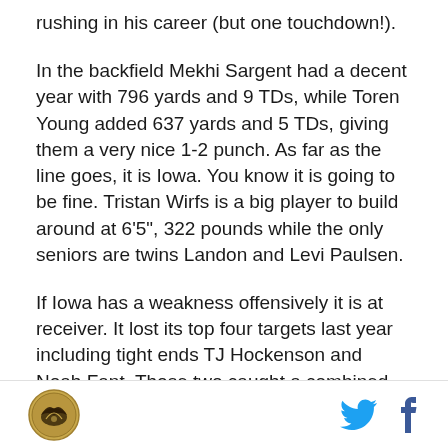rushing in his career (but one touchdown!).
In the backfield Mekhi Sargent had a decent year with 796 yards and 9 TDs, while Toren Young added 637 yards and 5 TDs, giving them a very nice 1-2 punch. As far as the line goes, it is Iowa. You know it is going to be fine. Tristan Wirfs is a big player to build around at 6'5", 322 pounds while the only seniors are twins Landon and Levi Paulsen.
If Iowa has a weakness offensively it is at receiver. It lost its top four targets last year including tight ends TJ Hockenson and Noah Fant. Those two caught a combined 88 passes for almost 1,300 yards and 13 touchdowns. Brandon Smith (29-361-2) and Ihmir